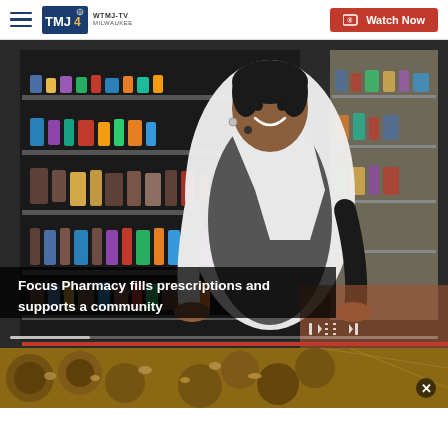WTMJ-TV Milwaukee — Watch Now
[Figure (photo): Pharmacist in white lab coat standing in front of pharmacy shelves stocked with bottles and health products, smiling at camera. Video player with controls visible at bottom of frame.]
Focus Pharmacy fills prescriptions and supports a community
[Figure (photo): Bottom strip showing close-up of food items (cookies or baked goods with nuts/toppings). Partial view of a second video/article thumbnail.]